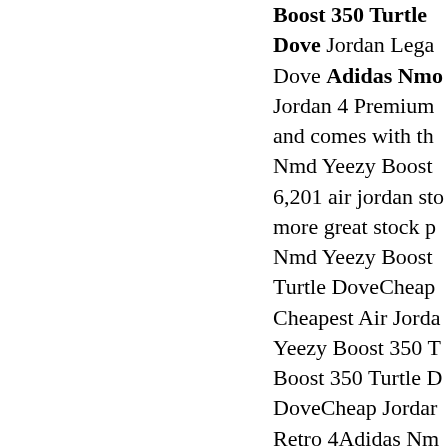Boost 350 Turtle Dove Jordan Lega Dove Adidas Nmd Jordan 4 Premium and comes with th Nmd Yeezy Boost 6,201 air jordan sto more great stock p Nmd Yeezy Boost Turtle DoveCheap Cheapest Air Jorda Yeezy Boost 350 T Boost 350 Turtle D DoveCheap Jordar Retro 4Adidas Nm FormAdidas Nmd 9Adidas Nmd Yee Boost 350 Turtle D Jordan 11 Retro Sh Retro High Og Wh GsAdidas Nmd Ye Boost 350 Turtle D DoveCheap Micha Jordan 13 Definin Release DatesAdic